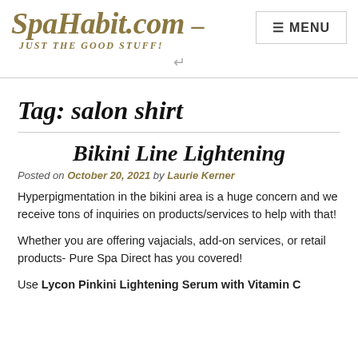SpaHabit.com - JUST THE GOOD STUFF! [MENU]
Tag: salon shirt
Bikini Line Lightening
Posted on October 20, 2021 by Laurie Kerner
Hyperpigmentation in the bikini area is a huge concern and we receive tons of inquiries on products/services to help with that!
Whether you are offering vajacials, add-on services, or retail products- Pure Spa Direct has you covered!
Use Lycon Pinkini Lightening Serum with Vitamin C